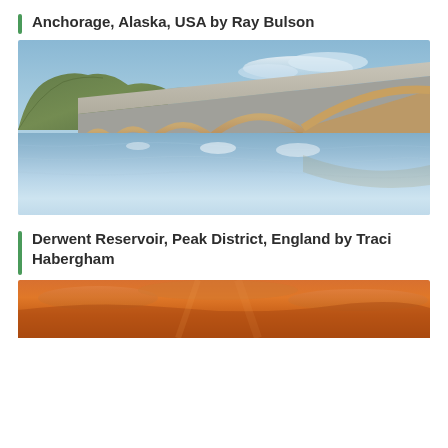Anchorage, Alaska, USA by Ray Bulson
[Figure (photo): A wide arched concrete bridge spanning calm water, photographed from below water level with long exposure. Trees and hills visible on the left background under a blue sky with light clouds.]
Derwent Reservoir, Peak District, England by Traci Habergham
[Figure (photo): A sunset or sunrise scene showing warm orange sky and clouds, partially visible at the bottom of the page.]